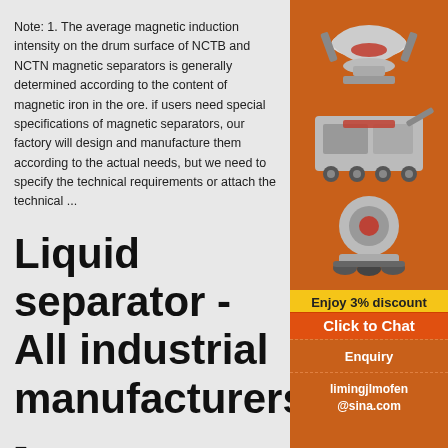Note: 1. The average magnetic induction intensity on the drum surface of NCTB and NCTN magnetic separators is generally determined according to the content of magnetic iron in the ore. if users need special specifications of magnetic separators, our factory will design and manufacture them according to the actual needs, but we need to specify the technical requirements or attach the technical ...
Liquid separator - All industrial manufacturers - Videos
air separator CTS Eliminator II . oil water condensate. Contact. ... The MPEB is a comp... two-stage separator with continuous, reliable operation. The separation takes place consecutively in a
[Figure (illustration): Orange sidebar advertisement showing industrial machinery (crushers, grinders) with text 'Enjoy 3% discount', 'Click to Chat', 'Enquiry', and 'limingjlmofen@sina.com']